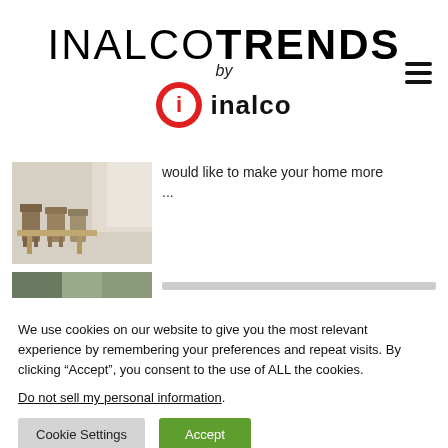INALCOTRENDS
by
[Figure (logo): Inalco brand logo with red circle containing white 'i' letter and text 'inalco' in black]
[Figure (photo): Interior room photo showing chairs and light-colored floor tiles]
would like to make your home more ...
[Figure (photo): Partially visible second article image]
We use cookies on our website to give you the most relevant experience by remembering your preferences and repeat visits. By clicking “Accept”, you consent to the use of ALL the cookies.
Do not sell my personal information.
Cookie Settings  Accept